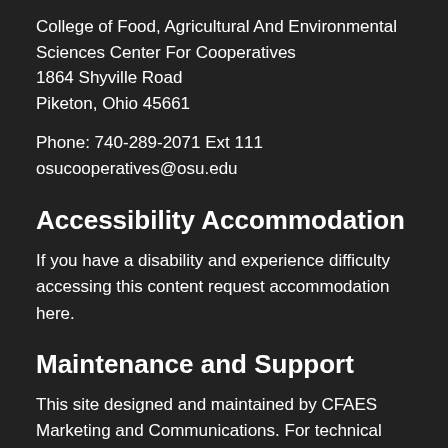College of Food, Agricultural And Environmental Sciences Center For Cooperatives
1864 Shyville Road
Piketon, Ohio 45661
Phone: 740-289-2071 Ext 111
osucooperatives@osu.edu
Accessibility Accommodation
If you have a disability and experience difficulty accessing this content request accommodation here.
Maintenance and Support
This site designed and maintained by CFAES Marketing and Communications. For technical support please contact the CFAES Helpdesk.